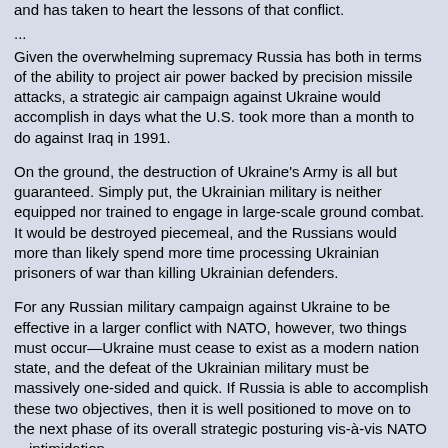and has taken to heart the lessons of that conflict.
...
Given the overwhelming supremacy Russia has both in terms of the ability to project air power backed by precision missile attacks, a strategic air campaign against Ukraine would accomplish in days what the U.S. took more than a month to do against Iraq in 1991.
On the ground, the destruction of Ukraine's Army is all but guaranteed. Simply put, the Ukrainian military is neither equipped nor trained to engage in large-scale ground combat. It would be destroyed piecemeal, and the Russians would more than likely spend more time processing Ukrainian prisoners of war than killing Ukrainian defenders.
For any Russian military campaign against Ukraine to be effective in a larger conflict with NATO, however, two things must occur—Ukraine must cease to exist as a modern nation state, and the defeat of the Ukrainian military must be massively one-sided and quick. If Russia is able to accomplish these two objectives, then it is well positioned to move on to the next phase of its overall strategic posturing vis-à-vis NATO—intimidation.
While the U.S., NATO, the EU, and the G7 have all promised "unprecedented sanctions," sanctions only matter if the other side cares. Russia, by rupturing relations with the West, no longer would care about sanctions. Moreover, it is a simple acknowledgement of reality that Russia can